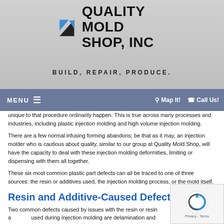[Figure (logo): Quality Mold Shop Inc logo with blue and black geometric triangular arrow icon and bold text]
BUILD, REPAIR, PRODUCE.
MENU  Map It!  Call Us!
unique to that procedure ordinarily happen. This is true across many processes and industries, including plastic injection molding and high volume injection molding.
There are a few normal infusing forming abandons; be that as it may, an injection molder who is cautious about quality, similar to our group at Quality Mold Shop, will have the capacity to deal with these injection molding deformities, limiting or dispensing with them all together.
These six most common plastic part defects can all be traced to one of three sources: the resin or additives used, the injection molding process, or the mold itself.
Resin and Additive-Caused Defects
Two common defects caused by issues with the resin or resin additives used during injection molding are delamination and discoloration.